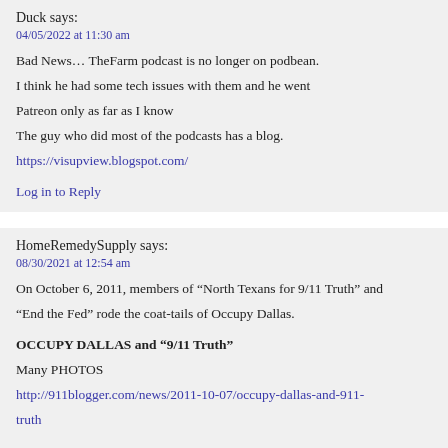Duck says:
04/05/2022 at 11:30 am
Bad News… TheFarm podcast is no longer on podbean. I think he had some tech issues with them and he went Patreon only as far as I know
The guy who did most of the podcasts has a blog.
https://visupview.blogspot.com/
Log in to Reply
HomeRemedySupply says:
08/30/2021 at 12:54 am
On October 6, 2011, members of “North Texans for 9/11 Truth” and “End the Fed” rode the coat-tails of Occupy Dallas.
OCCUPY DALLAS and “9/11 Truth”
Many PHOTOS
http://911blogger.com/news/2011-10-07/occupy-dallas-and-911-truth